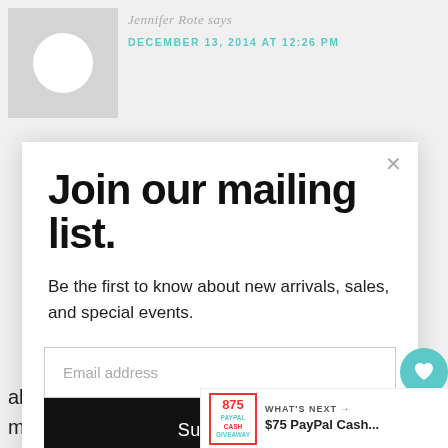[Figure (other): User avatar placeholder: gray rectangle with white circle in center]
Jennifer Rote says
DECEMBER 13, 2014 AT 12:26 PM
Join our mailing list.
Be the first to know about new arrivals, sales, and special events.
Email address
Subscribe
about my everyday life. I married my high school sweetheart Kenny. We have three boys and one
WHAT'S NEXT → $75 PayPal Cash...